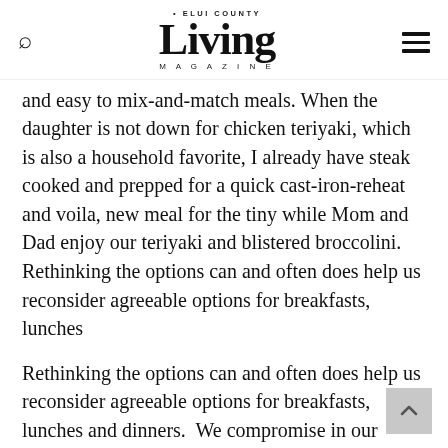ELUI COUNTY Living MAGAZINE
and easy to mix-and-match meals. When the daughter is not down for chicken teriyaki, which is also a household favorite, I already have steak cooked and prepped for a quick cast-iron-reheat and voila, new meal for the tiny while Mom and Dad enjoy our teriyaki and blistered broccolini. Rethinking the options can and often does help us reconsider agreeable options for breakfasts, lunches
Rethinking the options can and often does help us reconsider agreeable options for breakfasts, lunches and dinners. We compromise in our planning and ensure that we include at least something for each of us. When I roll out that